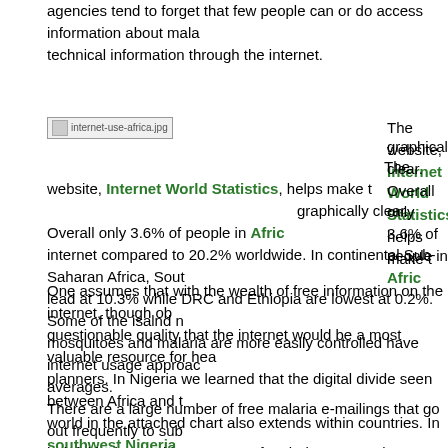agencies tend to forget that few people can or do access information about malaria or other technical information through the internet.
[Figure (photo): Image placeholder: internet-use-africa.jpg]
The website, Internet World Statistics, helps make this graphically clear. Overall only 3.6% of people in Africa use the internet compared to 20.2% worldwide. In continental Sub-Saharan Africa, South Africa leads at 10.3% while DRC and Ethiopia are lowest at 0.2%. Some of the island nations where mosquitoes and malaria are more easily controlled have internet usage approaching worldwide averages.
One assumes that with the wealth of free information on the internet, though obviously of questionable quality that the internet would be a most valuable resource for health planners. In Nigeria we learned that the digital divide seen between Africa and the rest of the world in the attached chart also extends within countries. In southwest Nigeria we found that staff of NGOs were 50% more likely than those of government health agencies to have access to a computer and to browse the internet.
There are a large number of free malaria e-mailings that go out frequently to subscribers. Very helpful is the weekly summary of malaria news and scientific articles from the Roll Back Malaria partnership. Even in Africa AMANET sends out an e-mail newsletter. Africa Fighting Malaria is another group that puts out regular news summaries. But these are of little value to those who do not have reliable internet access.